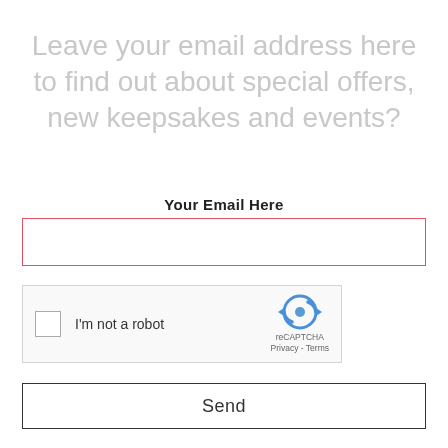Leave your email address here to find out about special offers, new keepsakes and events?
Your Email Here
[Figure (screenshot): Email input field with red/pink border]
[Figure (screenshot): reCAPTCHA widget with checkbox 'I'm not a robot' and reCAPTCHA logo with Privacy and Terms links]
Send